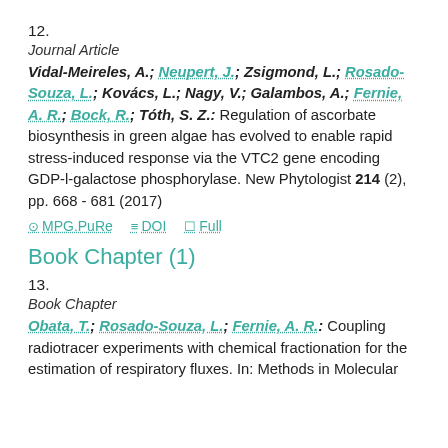12.
Journal Article
Vidal-Meireles, A.; Neupert, J.; Zsigmond, L.; Rosado-Souza, L.; Kovács, L.; Nagy, V.; Galambos, A.; Fernie, A. R.; Bock, R.; Tóth, S. Z.: Regulation of ascorbate biosynthesis in green algae has evolved to enable rapid stress-induced response via the VTC2 gene encoding GDP-l-galactose phosphorylase. New Phytologist 214 (2), pp. 668 - 681 (2017)
MPG.PuRe   DOI   Full
Book Chapter (1)
13.
Book Chapter
Obata, T.; Rosado-Souza, L.; Fernie, A. R.: Coupling radiotracer experiments with chemical fractionation for the estimation of respiratory fluxes. In: Methods in Molecular